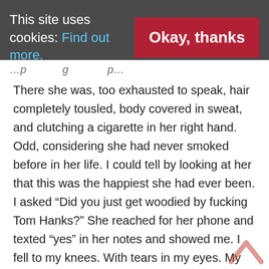This site uses cookies: Find out more.   Okay, thanks
…p…g…p…
There she was, too exhausted to speak, hair completely tousled, body covered in sweat, and clutching a cigarette in her right hand. Odd, considering she had never smoked before in her life. I could tell by looking at her that this was the happiest she had ever been. I asked “Did you just get woodied by fucking Tom Hanks?” She reached for her phone and texted “yes” in her notes and showed me. I fell to my knees. With tears in my eyes. My voice shaking, I said to her “Stacy, that is single-handedly, by far, the most fucking cool thing that has ever happened to me.”
At that moment Tom walked in the bedroom, picked me up off the floor, and gave me the warmest hug I’ve ever felt. “Thank you. Thank you so much Tom Hanks.” I said